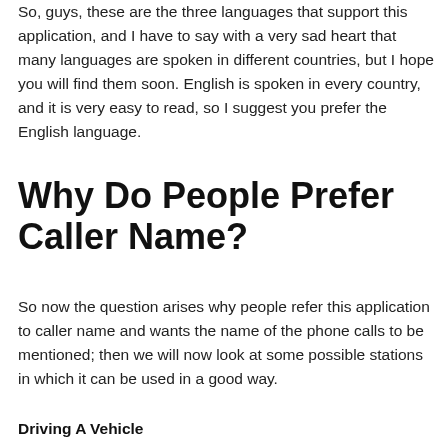So, guys, these are the three languages that support this application, and I have to say with a very sad heart that many languages are spoken in different countries, but I hope you will find them soon. English is spoken in every country, and it is very easy to read, so I suggest you prefer the English language.
Why Do People Prefer Caller Name?
So now the question arises why people refer this application to caller name and wants the name of the phone calls to be mentioned; then we will now look at some possible stations in which it can be used in a good way.
Driving A Vehicle